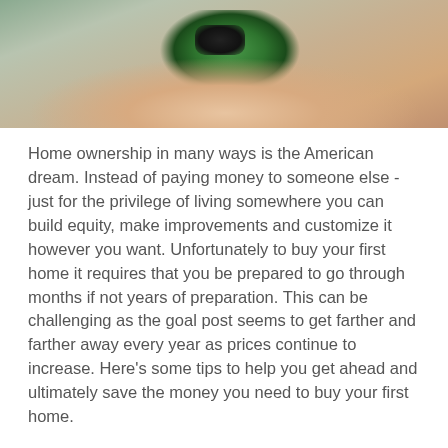[Figure (photo): Close-up photo of a hand holding a green and black object, with a blurred background]
Home ownership in many ways is the American dream. Instead of paying money to someone else - just for the privilege of living somewhere you can build equity, make improvements and customize it however you want. Unfortunately to buy your first home it requires that you be prepared to go through months if not years of preparation. This can be challenging as the goal post seems to get farther and farther away every year as prices continue to increase. Here's some tips to help you get ahead and ultimately save the money you need to buy your first home.
Just as an example, check these San Diego real Estate prices. It's is absolutely crazy right now. just this week, the median home price here hit $583,000! While the tips out from before owner can by the strain it...